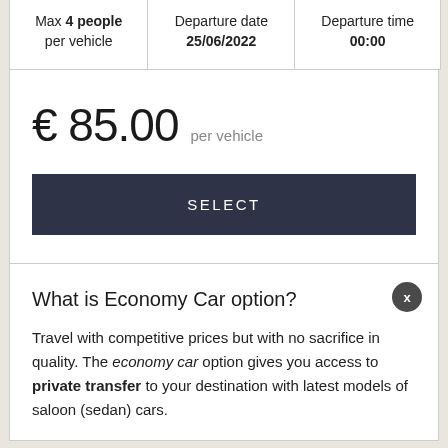| Max 4 people per vehicle | Departure date 25/06/2022 | Departure time 00:00 |
| --- | --- | --- |
€ 85.00 per vehicle
SELECT
What is Economy Car option?
Travel with competitive prices but with no sacrifice in quality. The economy car option gives you access to private transfer to your destination with latest models of saloon (sedan) cars.